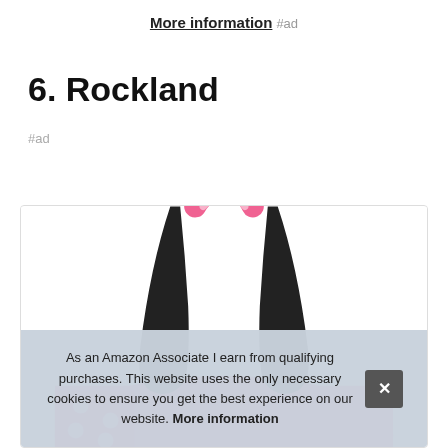More information #ad
6. Rockland
#ad
[Figure (photo): Pink and black Rockland backpack viewed from top, showing handles and straps]
As an Amazon Associate I earn from qualifying purchases. This website uses the only necessary cookies to ensure you get the best experience on our website. More information